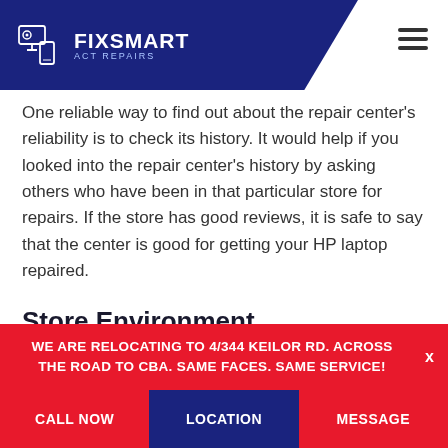FIXSMART ACT Repairs
One reliable way to find out about the repair center's reliability is to check its history. It would help if you looked into the repair center's history by asking others who have been in that particular store for repairs. If the store has good reviews, it is safe to say that the center is good for getting your HP laptop repaired.
Store Environment
You should consider the store environment as well. A
WE ARE RELOCATING TO 4/344 KEILOR RD. ACROSS THE ROAD TO CBA. SAME FACES. SAME SERVICE!
CALL NOW | LOCATION | MESSAGE